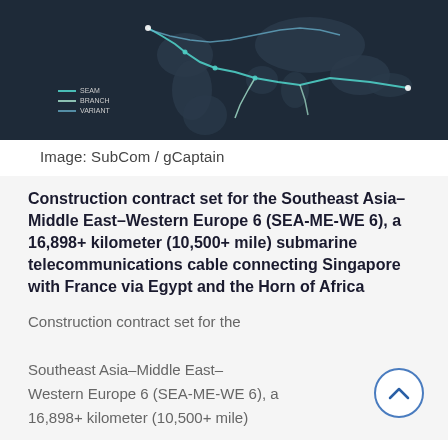[Figure (map): World map with submarine cable route lines (SEA-ME-WE 6) connecting Southeast Asia through Middle East to Western Europe, shown on dark background with colored route lines]
Image: SubCom / gCaptain
Construction contract set for the Southeast Asia–Middle East–Western Europe 6 (SEA-ME-WE 6), a 16,898+ kilometer (10,500+ mile) submarine telecommunications cable connecting Singapore with France via Egypt and the Horn of Africa
Construction contract set for the Southeast Asia–Middle East–Western Europe 6 (SEA-ME-WE 6), a 16,898+ kilometer (10,500+ mile)